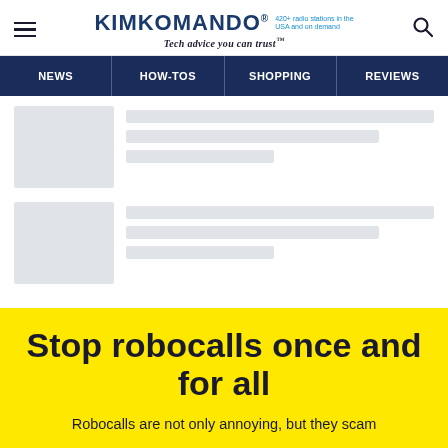KIMKOMANDO® 420+ radio stations in the USA and on demand — Tech advice you can trust™
[Figure (screenshot): Navigation menu bar with NEWS, HOW-TOS, SHOPPING, REVIEWS on dark navy background]
[Figure (screenshot): Two skeleton loading cards with grey placeholder image boxes and grey skeleton lines for text]
Stop robocalls once and for all
Robocalls are not only annoying, but they scam